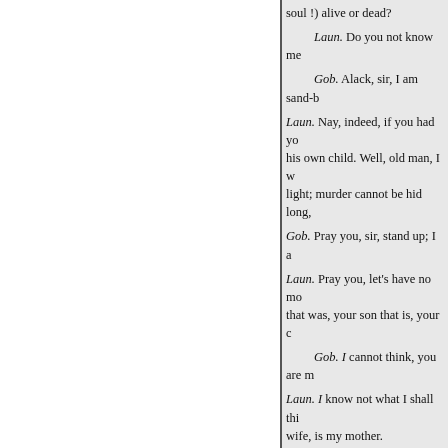soul !) alive or dead?

Laun. Do you not know me
Gob. Alack, sir, I am sand-b

Laun. Nay, indeed, if you had yo his own child. Well, old man, I w light; murder cannot be hid long,

Gob. Pray you, sir, stand up; I a

Laun. Pray you, let's have no mo that was, your son that is, your c

Gob. I cannot think, you are m

Laun. I know not what I shall thi wife, is my mother.

Gob. Her name is Margery, inde Lord worshipp'd might he be ! w my thill-horse has on his tail.

Laun. It should seem then, that D have on my face, when I last saw

Gob. Lord, how art thou changed gree you now?